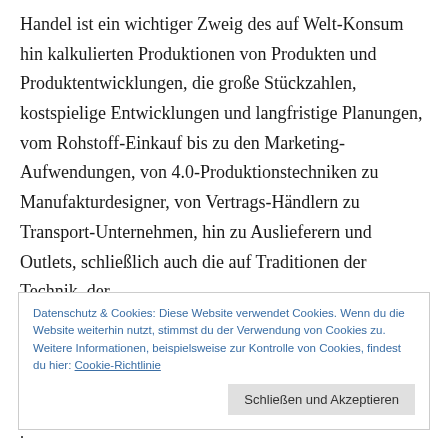Handel ist ein wichtiger Zweig des auf Welt-Konsum hin kalkulierten Produktionen von Produkten und Produktentwicklungen, die große Stückzahlen, kostspielige Entwicklungen und langfristige Planungen, vom Rohstoff-Einkauf bis zu den Marketing-Aufwendungen, von 4.0-Produktionstechniken zu Manufakturdesigner, von Vertrags-Händlern zu Transport-Unternehmen, hin zu Auslieferern und Outlets, schließlich auch die auf Traditionen der Technik, der
Datenschutz & Cookies: Diese Website verwendet Cookies. Wenn du die Website weiterhin nutzt, stimmst du der Verwendung von Cookies zu. Weitere Informationen, beispielsweise zur Kontrolle von Cookies, findest du hier: Cookie-Richtlinie
Schließen und Akzeptieren